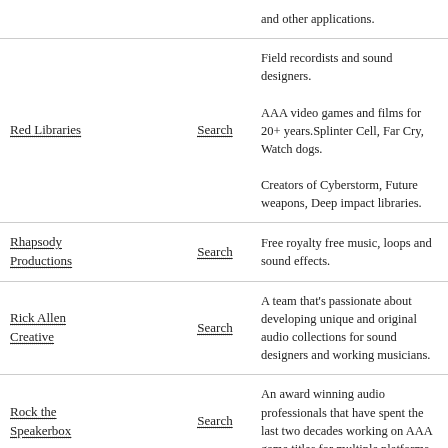| Name | Action | Description |
| --- | --- | --- |
|  |  | and other applications. |
| Red Libraries | Search | Field recordists and sound designers. AAA video games and films for 20+ years.Splinter Cell, Far Cry, Watch dogs. Creators of Cyberstorm, Future weapons, Deep impact libraries. |
| Rhapsody Productions | Search | Free royalty free music, loops and sound effects. |
| Rick Allen Creative | Search | A team that's passionate about developing unique and original audio collections for sound designers and working musicians. |
| Rock the Speakerbox | Search | An award winning audio professionals that have spent the last two decades working on AAA game titles for multiple platforms. |